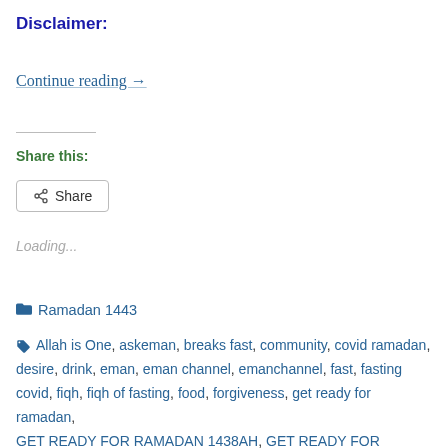Disclaimer:
Continue reading →
Share this:
Share
Loading...
Ramadan 1443
Allah is One, askeman, breaks fast, community, covid ramadan, desire, drink, eman, eman channel, emanchannel, fast, fasting covid, fiqh, fiqh of fasting, food, forgiveness, get ready for ramadan, GET READY FOR RAMADAN 1438AH, GET READY FOR RAMADAN! Ramadan preparatory reminders- Fiqh of fasting, get ready with me, group, intention, Islam, islam channel, mufti, muslim